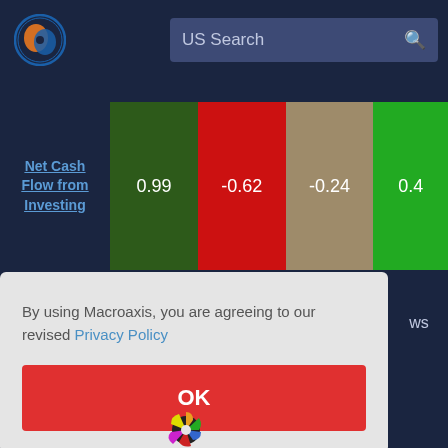[Figure (screenshot): Macroaxis website logo - globe icon with orange and blue colors]
US Search
| Metric | Value1 | Value2 | Value3 | Value4 |
| --- | --- | --- | --- | --- |
| Net Cash Flow from Investing | 0.99 | -0.62 | -0.24 | 0.4 |
Click cells to compare fundamentals
By using Macroaxis, you are agreeing to our revised Privacy Policy
OK